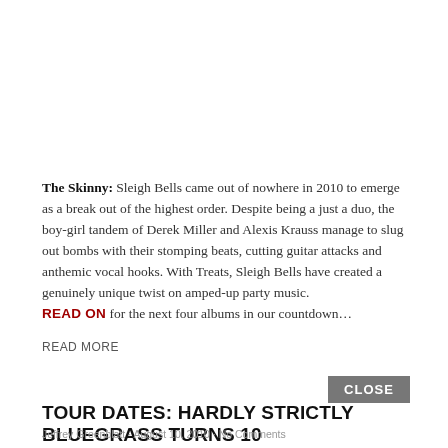The Skinny: Sleigh Bells came out of nowhere in 2010 to emerge as a break out of the highest order. Despite being a just a duo, the boy-girl tandem of Derek Miller and Alexis Krauss manage to slug out bombs with their stomping beats, cutting guitar attacks and anthemic vocal hooks. With Treats, Sleigh Bells have created a genuinely unique twist on amped-up party music. READ ON for the next four albums in our countdown…
READ MORE
CLOSE
TOUR DATES: HARDLY STRICTLY BLUEGRASS TURNS 10
Jeffrey Greenblatt · August 10, 2010 · No Comments